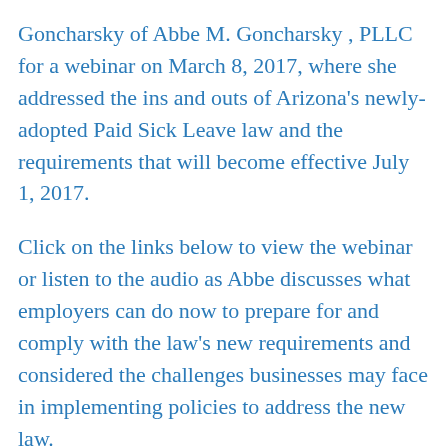Goncharsky of Abbe M. Goncharsky , PLLC for a webinar on March 8, 2017, where she addressed the ins and outs of Arizona's newly-adopted Paid Sick Leave law and the requirements that will become effective July 1, 2017.
Click on the links below to view the webinar or listen to the audio as Abbe discusses what employers can do now to prepare for and comply with the law's new requirements and considered the challenges businesses may face in implementing policies to address the new law.
Full webinar, audio and video (click forward – the presentation starts at 3:20):